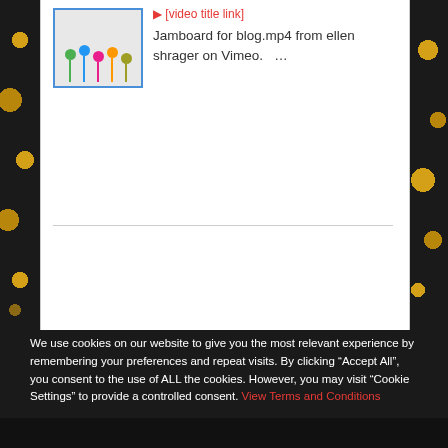[Figure (screenshot): Video thumbnail showing colored stick figures for Jamboard blog post]
Jamboard for blog.mp4 from ellen shrager on Vimeo.  ...
Find It Fast
We use cookies on our website to give you the most relevant experience by remembering your preferences and repeat visits. By clicking “Accept All”, you consent to the use of ALL the cookies. However, you may visit "Cookie Settings" to provide a controlled consent. View Terms and Conditions